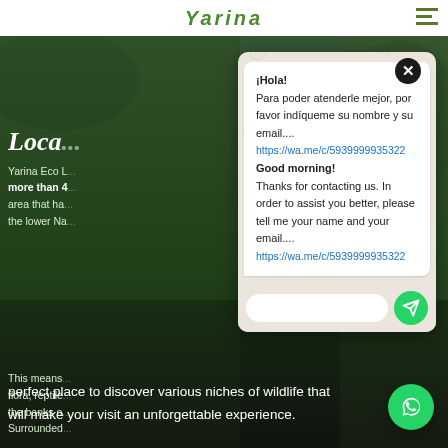[Figure (screenshot): Website screenshot showing a WhatsApp chat popup overlay on a nature/eco-lodge website. The background shows dark green nature imagery with white overlay text about 'Loca...' and Yarina Eco Lodge description. A WhatsApp chat popup is open showing two messages: one in Spanish ('¡Hola! Para poder atenderle mejor, por favor indíqueme su nombre y su email.... https://wa.me/c/5939999935322') and one in English ('Good morning! Thanks for contacting us. In order to assist you better, please tell me your name and your email.... https://wa.me/c/5939999935322'). There is a text input field and a green send button at the bottom. A WhatsApp floating action button is visible at the bottom right.]
¡Hola! Para poder atenderle mejor, por favor indíqueme su nombre y su email.... https://wa.me/c/5939999935322
Good morning! Thanks for contacting us. In order to assist you better, please tell me your name and your email.... https://wa.me/c/5939999935322